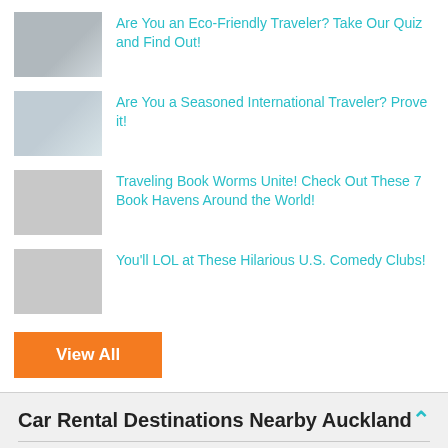Are You an Eco-Friendly Traveler? Take Our Quiz and Find Out!
Are You a Seasoned International Traveler? Prove it!
Traveling Book Worms Unite! Check Out These 7 Book Havens Around the World!
You'll LOL at These Hilarious U.S. Comedy Clubs!
View All
Car Rental Destinations Nearby Auckland
Car Rentals in Hamilton